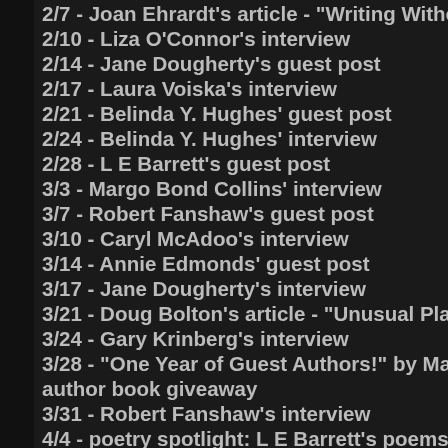2/7 - Joan Ehrardt's article - "Writing Without the Muse"
2/10 - Liza O'Connor's interview
2/14 - Jane Dougherty's guest post
2/17 - Laura Voiska's interview
2/21 - Belinda Y. Hughes' guest post
2/24 - Belinda Y. Hughes' interview
2/28 - L E Barrett's guest post
3/3 - Margo Bond Collins' interview
3/7 - Robert Fanshaw's guest post
3/10 - Caryl McAdoo's interview
3/14 - Annie Edmonds' guest post
3/17 - Jane Dougherty's interview
3/21 - Doug Bolton's article - "Unusual Places to Sell Your Books"
3/24 - Gary Krinberg's interview
3/28 - "One Year of Guest Authors!" by Marie Lavender and multi-author book giveaway
3/31 - Robert Fanshaw's interview
4/4 - poetry spotlight: L E Barrett's poems
4/7 - L E Barrett's interview
4/11 - Lois W. Stern's article - "8 Secrets to Networking"
4/14 - Annie Edmonds' interview
4/18 - Branka Cubrilo's guest post
4/21 - Doug Bolton's interview
4/25 - poetry spotlight: Devika